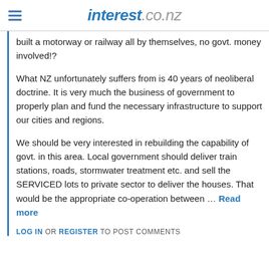interest.co.nz
built a motorway or railway all by themselves, no govt. money involved!?
What NZ unfortunately suffers from is 40 years of neoliberal doctrine. It is very much the business of government to properly plan and fund the necessary infrastructure to support our cities and regions.
We should be very interested in rebuilding the capability of govt. in this area. Local government should deliver train stations, roads, stormwater treatment etc. and sell the SERVICED lots to private sector to deliver the houses. That would be the appropriate co-operation between … Read more
LOG IN OR REGISTER TO POST COMMENTS